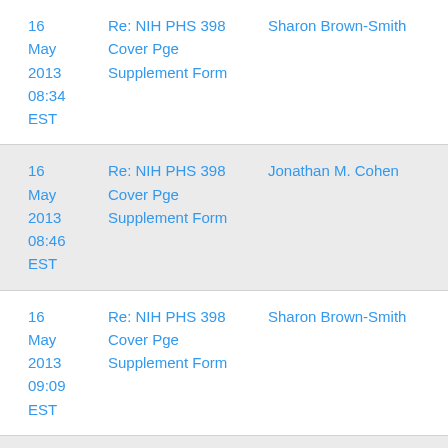| Date | Subject | From |
| --- | --- | --- |
| 16 May 2013 08:34 EST | Re: NIH PHS 398 Cover Pge Supplement Form | Sharon Brown-Smith |
| 16 May 2013 08:46 EST | Re: NIH PHS 398 Cover Pge Supplement Form | Jonathan M. Cohen |
| 16 May 2013 09:09 EST | Re: NIH PHS 398 Cover Pge Supplement Form | Sharon Brown-Smith |
| 16 ... | Re: NIH PHS 398 ... | ... |